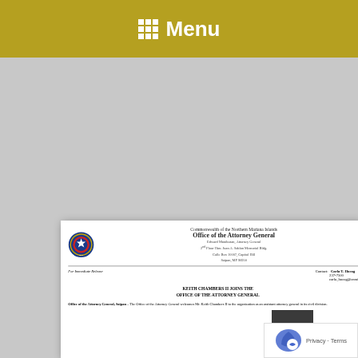Menu
[Figure (logo): Commonwealth of the Northern Mariana Islands seal/logo — circular blue and red government seal]
Commonwealth of the Northern Mariana Islands
Office of the Attorney General
Edward Manibusan, Attorney General
2nd Floor Hon. Juan A. Sablan Memorial Bldg.
Calle Box 10007, Capitol Hill
Saipan, MP 96950
For Immediate Release
Contact: Carla T. Hocog
237-7500
carla_hocog@cnmiag.org
KEITH CHAMBERS II JOINS THE OFFICE OF THE ATTORNEY GENERAL
Office of the Attorney General, Saipan – The Office of the Attorney General welcomes Mr. Keith Chambers II to the organization as an assistant attorney general in its civil division.